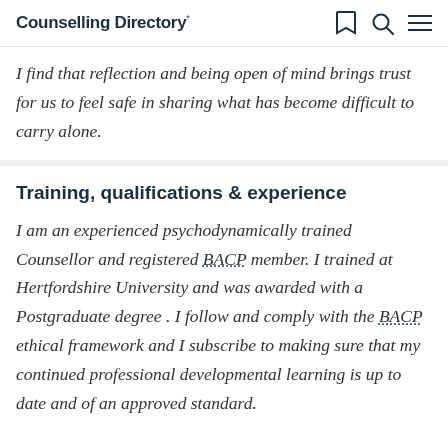Counselling Directory*
I find that reflection and being open of mind brings trust for us to feel safe in sharing what has become difficult to carry alone.
Training, qualifications & experience
I am an experienced psychodynamically trained Counsellor and registered BACP member. I trained at Hertfordshire University and was awarded with a Postgraduate degree . I follow and comply with the BACP ethical framework and I subscribe to making sure that my continued professional developmental learning is up to date and of an approved standard.